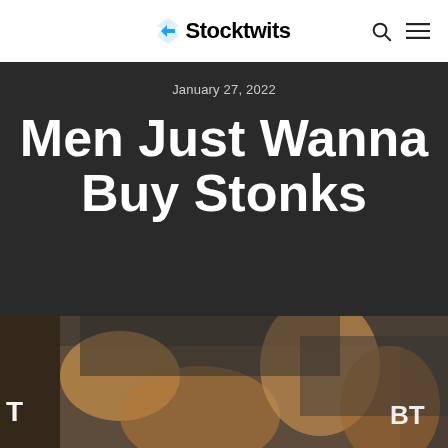Stocktwits
January 27, 2022
Men Just Wanna Buy Stonks
[Figure (photo): Blurred photo of traders on a stock exchange floor with hands raised, text 'T' on left and 'BT' on right visible]
Sign Up Now